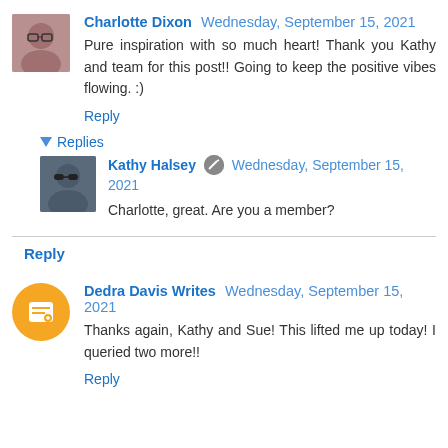Charlotte Dixon  Wednesday, September 15, 2021
Pure inspiration with so much heart! Thank you Kathy and team for this post!! Going to keep the positive vibes flowing. :)
Reply
▾ Replies
Kathy Halsey  Wednesday, September 15, 2021
Charlotte, great. Are you a member?
Reply
Dedra Davis Writes  Wednesday, September 15, 2021
Thanks again, Kathy and Sue! This lifted me up today! I queried two more!!
Reply